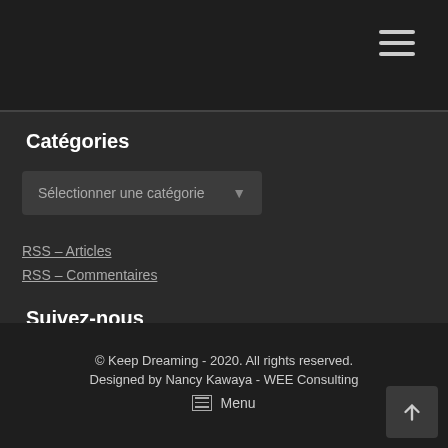Catégories
Sélectionner une catégorie
RSS - Articles
RSS - Commentaires
Suivez-nous
© Keep Dreaming - 2020. All rights reserved. Designed by Nancy Kawaya - WEE Consulting Menu